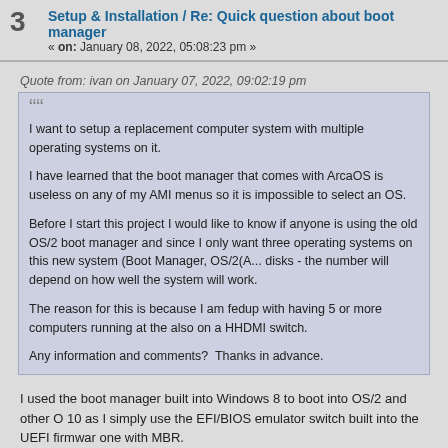3 Setup & Installation / Re: Quick question about boot manager « on: January 08, 2022, 05:08:23 pm »
Quote from: ivan on January 07, 2022, 09:02:19 pm
I want to setup a replacement computer system with multiple operating systems on it.

I have learned that the boot manager that comes with ArcaOS is useless on any of my AMI menus so it is impossible to select an OS.

Before I start this project I would like to know if anyone is using the old OS/2 boot manager and since I only want three operating systems on this new system (Boot Manager, OS/2(A... disks - the number will depend on how well the system will work.

The reason for this is because I am fedup with having 5 or more computers running at the also on a HHDMI switch.

Any information and comments?  Thanks in advance.
I used the boot manager built into Windows 8 to boot into OS/2 and other O 10 as I simply use the EFI/BIOS emulator switch built into the UEFI firmware one with MBR.
4 Web applications / Re: The MicroWeb DOS web browser « on: January 08, 2022, 03:53:20 pm »